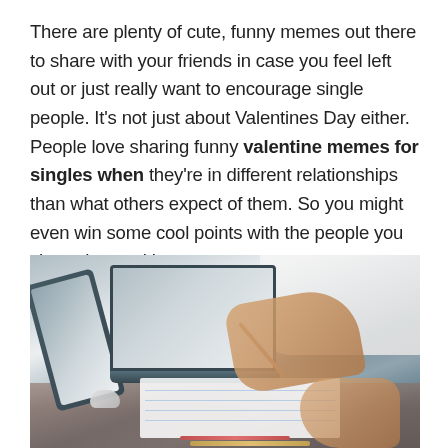There are plenty of cute, funny memes out there to share with your friends in case you feel left out or just really want to encourage single people. It's not just about Valentines Day either. People love sharing funny valentine memes for singles when they're in different relationships than what others expect of them. So you might even win some cool points with the people you share these with.
[Figure (photo): Two people working at a desk with laptops, notebooks and papers; one person is writing with a pen while another person's hands are visible; various office items on a wooden table.]